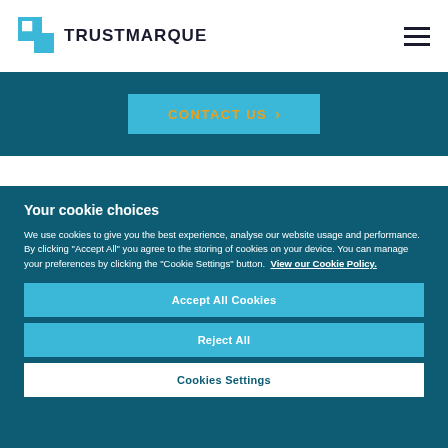TRUSTMARQUE
CONTACT US >
Your cookie choices
We use cookies to give you the best experience, analyse our website usage and performance. By clicking "Accept All" you agree to the storing of cookies on your device. You can manage your preferences by clicking the "Cookie Settings" button.  View our Cookie Policy.
Accept All Cookies
Reject All
Cookies Settings